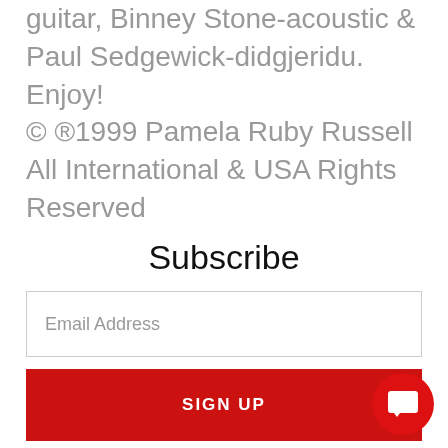guitar, Binney Stone-acoustic & Paul Sedgewick-didgjeridu. Enjoy! © ®1999 Pamela Ruby Russell All International & USA Rights Reserved
Subscribe
Email Address
SIGN UP